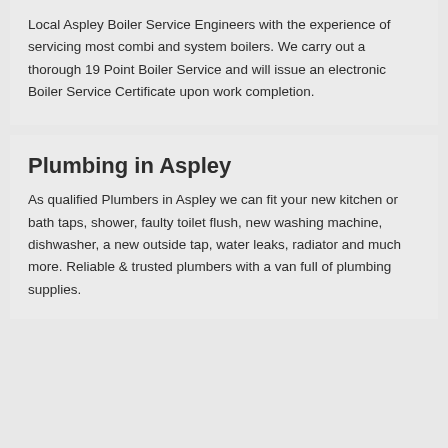Local Aspley Boiler Service Engineers with the experience of servicing most combi and system boilers. We carry out a thorough 19 Point Boiler Service and will issue an electronic Boiler Service Certificate upon work completion.
Plumbing in Aspley
As qualified Plumbers in Aspley we can fit your new kitchen or bath taps, shower, faulty toilet flush, new washing machine, dishwasher, a new outside tap, water leaks, radiator and much more. Reliable & trusted plumbers with a van full of plumbing supplies.